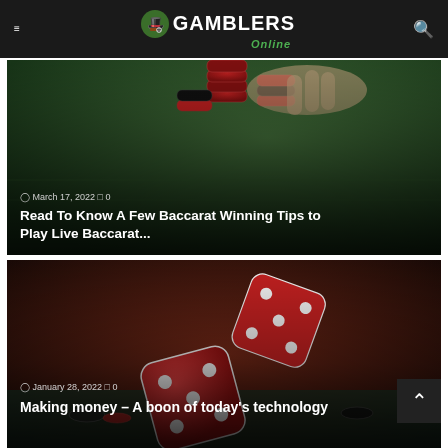GAMBLERS Online
[Figure (photo): Casino chips stacked on a green felt table with hands visible, article card for baccarat winning tips]
March 17, 2022  0
Read To Know A Few Baccarat Winning Tips to Play Live Baccarat...
[Figure (photo): Red dice tumbling over a casino table with chips, warm red-toned blurred background, article card for making money]
January 28, 2022  0
Making money – A boon of today's technology